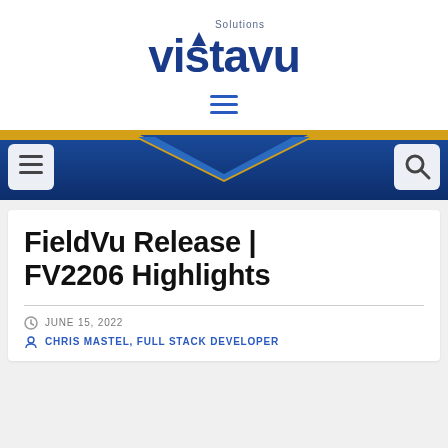[Figure (logo): VistaVu Solutions logo — large bold dark blue text 'vistavu' with small 'Solutions' text above, and a mountain/chevron icon integrated into the wordmark]
[Figure (infographic): Hamburger menu icon — three horizontal blue lines centered on white background]
[Figure (infographic): Navigation banner — dark blue gradient background with gold/yellow chevron accent at top, white hamburger menu button on left, white search button on right]
FieldVu Release | FV2206 Highlights
JUNE 15, 2022
CHRIS MASTEL, FULL STACK DEVELOPER